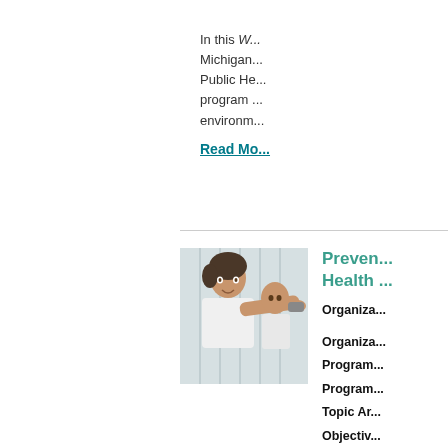In this W... Michigan... Public He... program ... environm...
Read Mo...
[Figure (photo): Elderly people exercising, a woman in white shirt stretching arms forward with an older man in background]
Preven... Health ...
Organiza...
Organiza...
Program...
Program...
Topic Ar...
Objectiv...